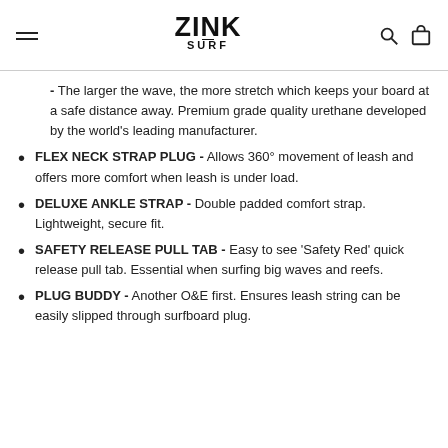ZINK SURF
- The larger the wave, the more stretch which keeps your board at a safe distance away. Premium grade quality urethane developed by the world's leading manufacturer.
FLEX NECK STRAP PLUG - Allows 360° movement of leash and offers more comfort when leash is under load.
DELUXE ANKLE STRAP - Double padded comfort strap. Lightweight, secure fit.
SAFETY RELEASE PULL TAB - Easy to see 'Safety Red' quick release pull tab. Essential when surfing big waves and reefs.
PLUG BUDDY - Another O&E first. Ensures leash string can be easily slipped through surfboard plug.